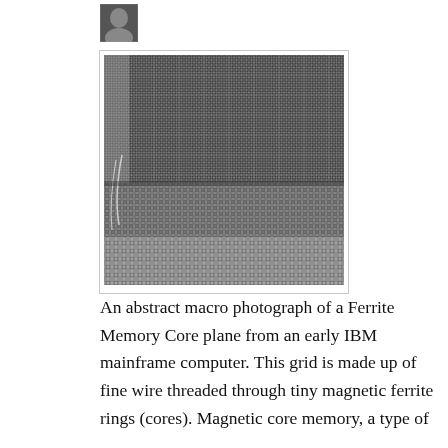[Figure (photo): Small avatar/profile photo of a person, black and white, cropped head shot, positioned top left area.]
[Figure (photo): An abstract macro photograph of a Ferrite Memory Core plane from an early IBM mainframe computer. The image shows a dense grid of tiny magnetic ferrite rings (cores) threaded with fine wires, displayed in black and white. The grid pattern fills the entire frame with rows and columns of small rings woven through horizontal and vertical wires.]
An abstract macro photograph of a Ferrite Memory Core plane from an early IBM mainframe computer. This grid is made up of fine wire threaded through tiny magnetic ferrite rings (cores). Magnetic core memory, a type of